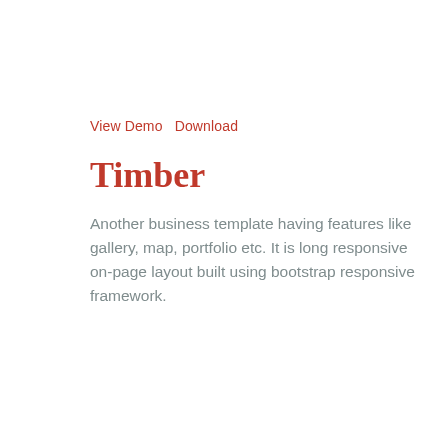View Demo   Download
Timber
Another business template having features like gallery, map, portfolio etc. It is long responsive on-page layout built using bootstrap responsive framework.